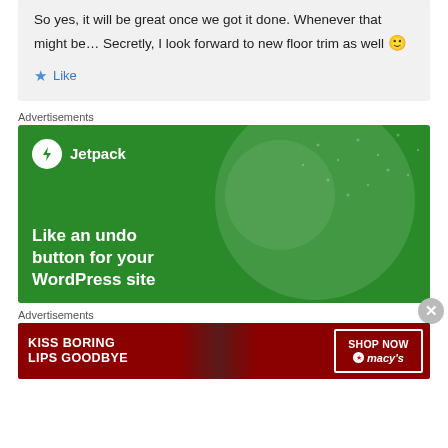So yes, it will be great once we got it done. Whenever that might be… Secretly, I look forward to new floor trim as well 🙂
Like
Advertisements
[Figure (screenshot): Jetpack advertisement: green background with circle design. Logo shows Jetpack bolt icon and name. Tagline reads 'Like an undo button for your WordPress site']
Advertisements
[Figure (screenshot): Macy's advertisement on dark red background. Text reads 'KISS BORING LIPS GOODBYE' with a 'SHOP NOW' button and Macy's star logo. Shows model image.]